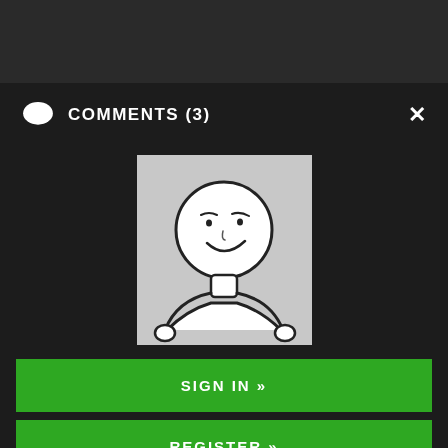COMMENTS (3)
[Figure (illustration): A stick-figure avatar with a round smiling face on a grey background]
SIGN IN »
REGISTER »
Your Username
Your E-mail
Join the discussion...